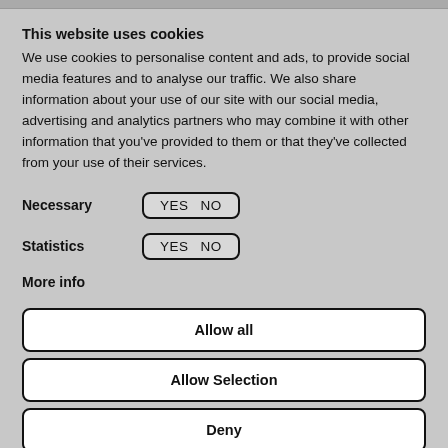This website uses cookies
We use cookies to personalise content and ads, to provide social media features and to analyse our traffic. We also share information about your use of our site with our social media, advertising and analytics partners who may combine it with other information that you've provided to them or that they've collected from your use of their services.
Necessary  YES  NO
Statistics  YES  NO
More info
Allow all
Allow Selection
Deny